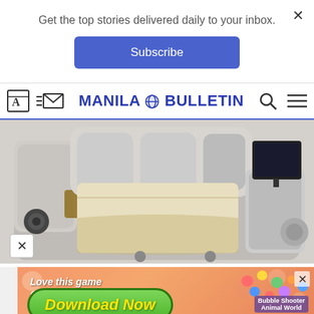Get the top stories delivered daily to your inbox.
Subscribe
[Figure (screenshot): Manila Bulletin website navigation bar with newspaper icon, mail icon, Manila Bulletin globe logo, search icon, and hamburger menu]
[Figure (photo): A futuristic smart bed with white leather upholstery, built-in speakers, a tablet/monitor on the right side, quilted mattress, and various integrated compartments and controls]
[Figure (screenshot): Mobile game advertisement with orange gradient background, text 'Love this game Can't stop playing!' and a green Download Now button, Bubble Shooter Animal World branding]